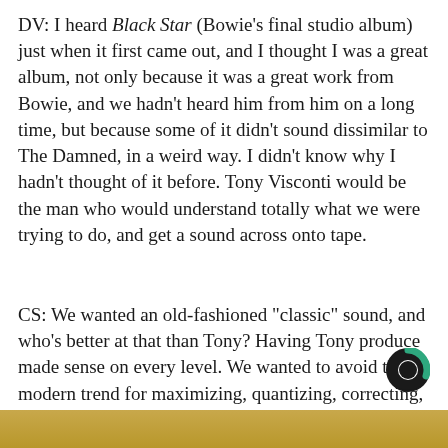DV: I heard Black Star (Bowie's final studio album) just when it first came out, and I thought I was a great album, not only because it was a great work from Bowie, and we hadn't heard him from him on a long time, but because some of it didn't sound dissimilar to The Damned, in a weird way. I didn't know why I hadn't thought of it before. Tony Visconti would be the man who would understand totally what we were trying to do, and get a sound across onto tape.
CS: We wanted an old-fashioned "classic" sound, and who's better at that than Tony? Having Tony produce made sense on every level. We wanted to avoid the modern trend for maximizing, quantizing, correcting, Auto-Tuning, preferring to bash it out in a room together as a band, blasting out each track until it got Tony's nod of approval.
[Figure (logo): Black circular logo with a green arc on the right side]